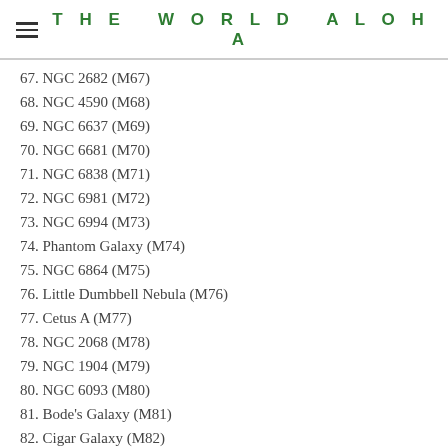THE WORLD ALOHA
67. NGC 2682 (M67)
68. NGC 4590 (M68)
69. NGC 6637 (M69)
70. NGC 6681 (M70)
71. NGC 6838 (M71)
72. NGC 6981 (M72)
73. NGC 6994 (M73)
74. Phantom Galaxy (M74)
75. NGC 6864 (M75)
76. Little Dumbbell Nebula (M76)
77. Cetus A (M77)
78. NGC 2068 (M78)
79. NGC 1904 (M79)
80. NGC 6093 (M80)
81. Bode's Galaxy (M81)
82. Cigar Galaxy (M82)
83. Southern Pinwheel Galaxy (M83)
84. NGC 4374 (M84)